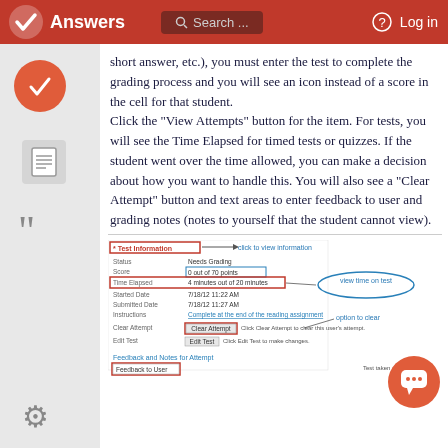Answers   Search...   Log in
short answer, etc.), you must enter the test to complete the grading process and you will see an icon instead of a score in the cell for that student. Click the "View Attempts" button for the item. For tests, you will see the Time Elapsed for timed tests or quizzes. If the student went over the time allowed, you can make a decision about how you want to handle this. You will also see a "Clear Attempt" button and text areas to enter feedback to user and grading notes (notes to yourself that the student cannot view).
[Figure (screenshot): Screenshot of test information panel showing Status: Needs Grading, Score: 0 out of 70 points, Time Elapsed: 4 minutes out of 20 minutes (highlighted in red box), Started Date: 7/18/12 11:22 AM, Submitted Date: 7/18/12 11:27 AM, Instructions, Clear Attempt button (highlighted), Edit Test. Annotations: 'click to view information', 'view time on test', 'option to clear'. Also shows Feedback and Notes for Attempt section with Feedback to User field.]